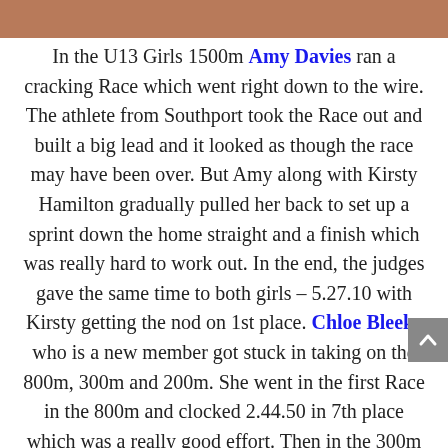[Figure (photo): Partial photo strip at top of page showing an athletic track scene]
In the U13 Girls 1500m Amy Davies ran a cracking Race which went right down to the wire. The athlete from Southport took the Race out and built a big lead and it looked as though the race may have been over. But Amy along with Kirsty Hamilton gradually pulled her back to set up a sprint down the home straight and a finish which was really hard to work out. In the end, the judges gave the same time to both girls – 5.27.10 with Kirsty getting the nod on 1st place. Chloe Bleeks who is a new member got stuck in taking on the 800m, 300m and 200m. She went in the first Race in the 800m and clocked 2.44.50 in 7th place which was a really good effort. Then in the 300m she ran a really